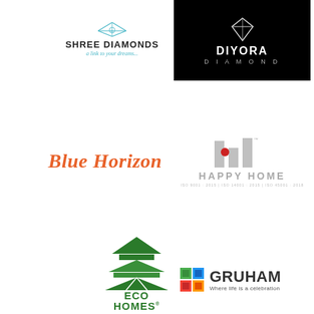[Figure (logo): Shree Diamonds logo with diamond icon and tagline 'a link to your dreams...']
[Figure (logo): Diyora Diamond logo on black background with geometric diamond icon]
[Figure (logo): Blue Horizon logo in orange italic bold text]
[Figure (logo): Happy Home logo with grey bar chart icon and red dot, grey text]
[Figure (logo): Eco Homes logo with green layered triangle/roof icon]
[Figure (logo): Gruham logo with coloured grid squares and tagline 'Where life is a celebration']